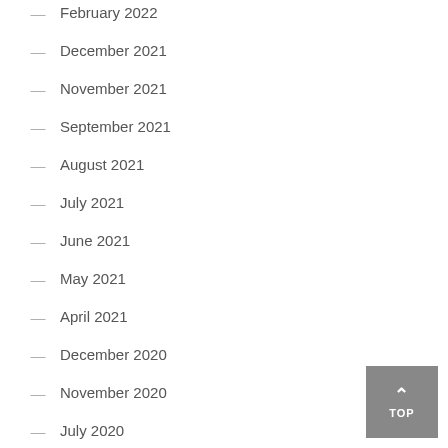February 2022
December 2021
November 2021
September 2021
August 2021
July 2021
June 2021
May 2021
April 2021
December 2020
November 2020
July 2020
April 2020
September 2019
August 2019